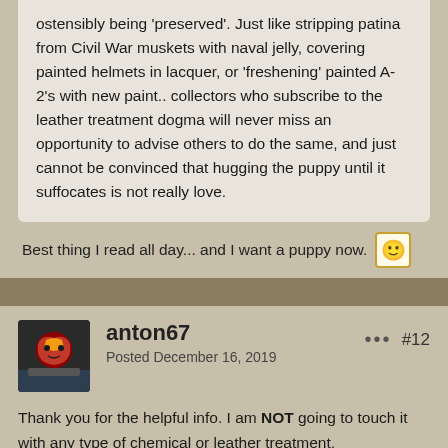ostensibly being 'preserved'. Just like stripping patina from Civil War muskets with naval jelly, covering painted helmets in lacquer, or 'freshening' painted A-2's with new paint.. collectors who subscribe to the leather treatment dogma will never miss an opportunity to advise others to do the same, and just cannot be convinced that hugging the puppy until it suffocates is not really love.
Best thing I read all day... and I want a puppy now. 🙂
anton67
Posted December 16, 2019
#12
Thank you for the helpful info. I am NOT going to touch it with any type of chemical or leather treatment.
I actually have a torso which I might be able to use.
I thought maybe a torso would be bad for it.